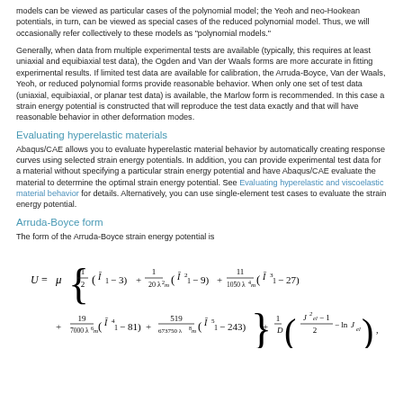models can be viewed as particular cases of the polynomial model; the Yeoh and neo-Hookean potentials, in turn, can be viewed as special cases of the reduced polynomial model. Thus, we will occasionally refer collectively to these models as "polynomial models."
Generally, when data from multiple experimental tests are available (typically, this requires at least uniaxial and equibiaxial test data), the Ogden and Van der Waals forms are more accurate in fitting experimental results. If limited test data are available for calibration, the Arruda-Boyce, Van der Waals, Yeoh, or reduced polynomial forms provide reasonable behavior. When only one set of test data (uniaxial, equibiaxial, or planar test data) is available, the Marlow form is recommended. In this case a strain energy potential is constructed that will reproduce the test data exactly and that will have reasonable behavior in other deformation modes.
Evaluating hyperelastic materials
Abaqus/CAE allows you to evaluate hyperelastic material behavior by automatically creating response curves using selected strain energy potentials. In addition, you can provide experimental test data for a material without specifying a particular strain energy potential and have Abaqus/CAE evaluate the material to determine the optimal strain energy potential. See Evaluating hyperelastic and viscoelastic material behavior for details. Alternatively, you can use single-element test cases to evaluate the strain energy potential.
Arruda-Boyce form
The form of the Arruda-Boyce strain energy potential is